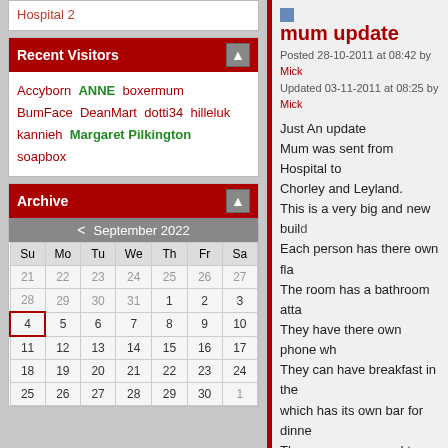Hospital 2
Recent Visitors
Accyborn ANNE boxermum BumFace DeanMart dotti34 hilleluk kannieh Margaret Pilkington soapbox
Archive
| Su | Mo | Tu | We | Th | Fr | Sa |
| --- | --- | --- | --- | --- | --- | --- |
| 21 | 22 | 23 | 24 | 25 | 26 | 27 |
| 28 | 29 | 30 | 31 | 1 | 2 | 3 |
| 4 | 5 | 6 | 7 | 8 | 9 | 10 |
| 11 | 12 | 13 | 14 | 15 | 16 | 17 |
| 18 | 19 | 20 | 21 | 22 | 23 | 24 |
| 25 | 26 | 27 | 28 | 29 | 30 | 1 |
mum update
Posted 28-10-2011 at 08:42 by Mick
Updated 03-11-2011 at 08:25 by Mick
Just An update
Mum was sent from Hospital to Chorley and Leyland.
This is a very big and new buil...
Each person has there own fla...
The room has a bathroom atta...
They have there own phone wh...
They can have breakfast in the...
which has its own bar for dinne...
They are encouraged to exerci...
There is a notice on the...
[Figure (photo): Old black and white photo of a woman and man with a dog sitting on grass]
Posted in Uncategorized
Mum